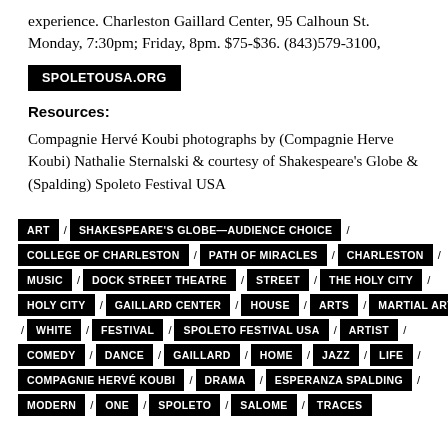experience. Charleston Gaillard Center, 95 Calhoun St. Monday, 7:30pm; Friday, 8pm. $75-$36. (843)579-3100,
SPOLETOUSA.ORG
Resources:
Compagnie Hervé Koubi photographs by (Compagnie Herve Koubi) Nathalie Sternalski & courtesy of Shakespeare's Globe & (Spalding) Spoleto Festival USA
ART / SHAKESPEARE'S GLOBE—AUDIENCE CHOICE /
COLLEGE OF CHARLESTON / PATH OF MIRACLES / CHARLESTON /
MUSIC / DOCK STREET THEATRE / STREET / THE HOLY CITY /
HOLY CITY / GAILLARD CENTER / HOUSE / ARTS / MARTIAL ARTS
/ WHITE / FESTIVAL / SPOLETO FESTIVAL USA / ARTIST /
COMEDY / DANCE / GAILLARD / HOME / JAZZ / LIFE /
COMPAGNIE HERVÉ KOUBI / DRAMA / ESPERANZA SPALDING /
MODERN / ONE / SPOLETO / SALOME / TRACES